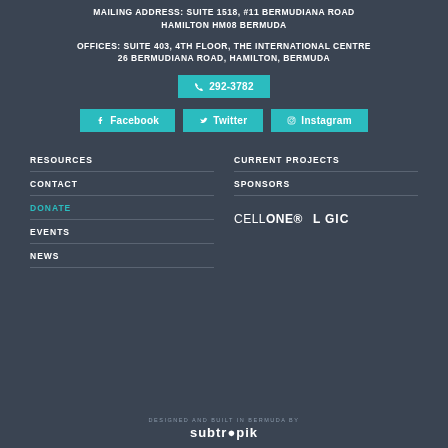MAILING ADDRESS: SUITE 1518, #11 BERMUDIANA ROAD HAMILTON HM08 BERMUDA
OFFICES: SUITE 403, 4TH FLOOR, THE INTERNATIONAL CENTRE 26 BERMUDIANA ROAD, HAMILTON, BERMUDA
[Figure (infographic): Phone button with icon and number 292-3782, Facebook button, Twitter button, Instagram button - all teal colored]
RESOURCES
CURRENT PROJECTS
CONTACT
SPONSORS
DONATE
[Figure (logo): CELLONE and LOGIC sponsor logos]
EVENTS
NEWS
DESIGNED AND BUILT IN BERMUDA BY subtropik